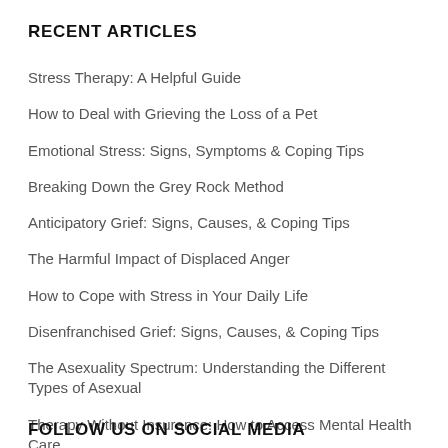RECENT ARTICLES
Stress Therapy: A Helpful Guide
How to Deal with Grieving the Loss of a Pet
Emotional Stress: Signs, Symptoms & Coping Tips
Breaking Down the Grey Rock Method
Anticipatory Grief: Signs, Causes, & Coping Tips
The Harmful Impact of Displaced Anger
How to Cope with Stress in Your Daily Life
Disenfranchised Grief: Signs, Causes, & Coping Tips
The Asexuality Spectrum: Understanding the Different Types of Asexual
Therapy Without Insurance: How to Access Mental Health Care
Follow us on social media